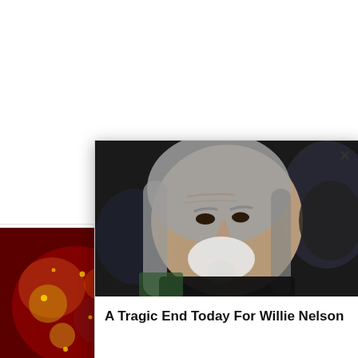[Figure (screenshot): Background webpage with a sidebar ad card showing a medical/biological image, text 'Why Doctors No Longer P... Metformin', count '105,007']
[Figure (photo): Popup modal overlay showing photo of elderly man with long gray hair and white beard (Willie Nelson), with close X button]
A Tragic End Today For Willie Nelson
Why Doctors No Longer P... Metformin
105,007